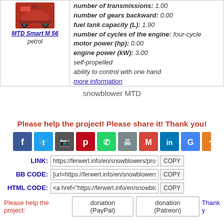[Figure (photo): Product photo of MTD Smart M 56 snowblower in red, above the product name and type label.]
MTD Smart M 56
petrol
number of transmissions: 1.00
number of gears backward: 0.00
fuel tank capacity (L): 1.90
number of cycles of the engine: four-cycle
motor power (hp): 0.00
engine power (kW): 3.00
self-propelled
ability to control with one hand
more information
snowblower MTD
Please help the project! Please share it! Thank you!
[Figure (infographic): Row of social share buttons: Facebook, Twitter, Share, Pinterest, WhatsApp, Print, Gmail, LinkedIn, Google, More]
LINK: https://ferwert.info/en/snowblowers/producer-109
BB CODE: [url=https://ferwert.info/en/snowblowers/producer
HTML CODE: <a href="https://ferwert.info/en/snowblowers/prod
Please help the project: donation (PayPal)  donation (Patreon)  Thank y